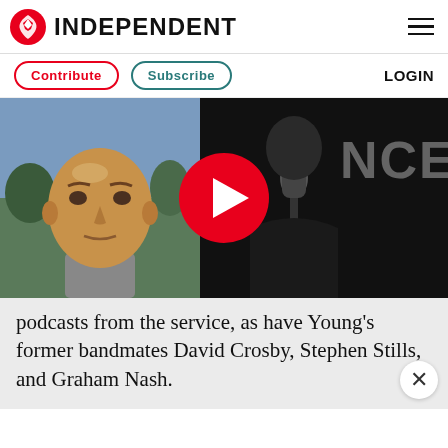INDEPENDENT
Contribute  Subscribe  LOGIN
[Figure (screenshot): Video thumbnail showing two individuals side by side with a red play button overlay in the center. Left side shows a bald man outdoors in daylight; right side shows a darker image of a man speaking into a microphone with 'NCE' visible in background.]
podcasts from the service, as have Young's former bandmates David Crosby, Stephen Stills, and Graham Nash.